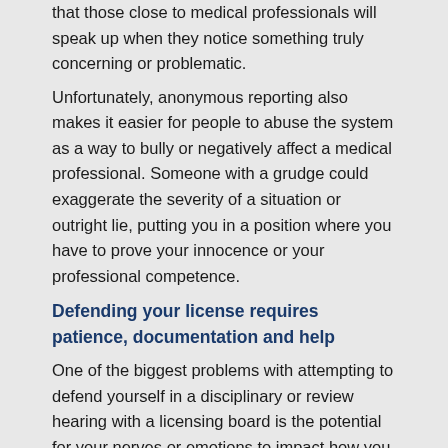that those close to medical professionals will speak up when they notice something truly concerning or problematic.
Unfortunately, anonymous reporting also makes it easier for people to abuse the system as a way to bully or negatively affect a medical professional. Someone with a grudge could exaggerate the severity of a situation or outright lie, putting you in a position where you have to prove your innocence or your professional competence.
Defending your license requires patience, documentation and help
One of the biggest problems with attempting to defend yourself in a disciplinary or review hearing with a licensing board is the potential for your nerves or emotions to impact how you present yourself. Anger,